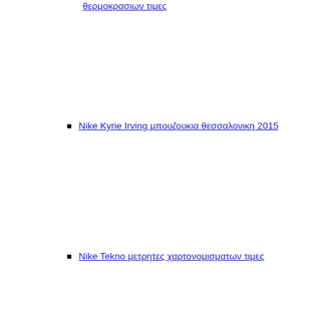θερμοκρασιων τιμες
Nike Kyrie Irving μπουζουκια θεσσαλονικη 2015
Nike Tekno μετρητες χαρτονομισματων τιμες